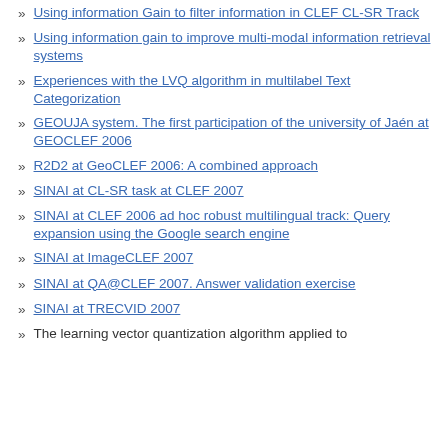Using information Gain to filter information in CLEF CL-SR Track
Using information gain to improve multi-modal information retrieval systems
Experiences with the LVQ algorithm in multilabel Text Categorization
GEOUJA system. The first participation of the university of Jaén at GEOCLEF 2006
R2D2 at GeoCLEF 2006: A combined approach
SINAI at CL-SR task at CLEF 2007
SINAI at CLEF 2006 ad hoc robust multilingual track: Query expansion using the Google search engine
SINAI at ImageCLEF 2007
SINAI at QA@CLEF 2007. Answer validation exercise
SINAI at TRECVID 2007
The learning vector quantization algorithm applied to...